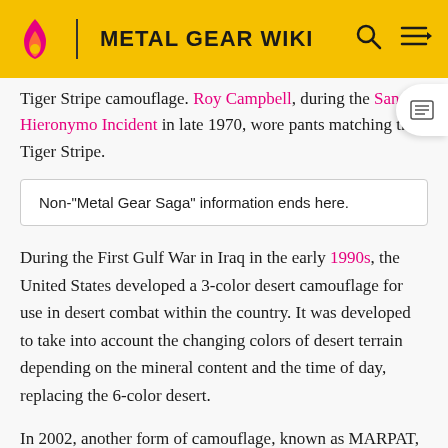METAL GEAR WIKI
Tiger Stripe camouflage. Roy Campbell, during the San Hieronymo Incident in late 1970, wore pants matching the Tiger Stripe.
Non-"Metal Gear Saga" information ends here.
During the First Gulf War in Iraq in the early 1990s, the United States developed a 3-color desert camouflage for use in desert combat within the country. It was developed to take into account the changing colors of desert terrain depending on the mineral content and the time of day, replacing the 6-color desert.
In 2002, another form of camouflage, known as MARPAT, was developed for the United States Marine Corps, and